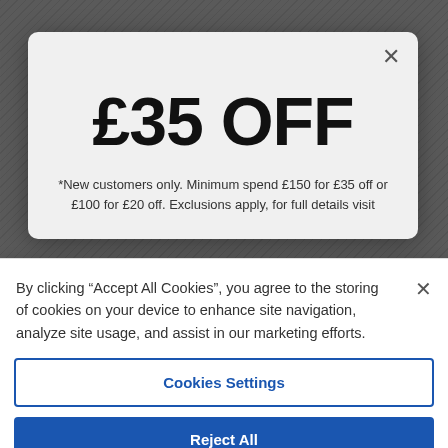£35 OFF
*New customers only. Minimum spend £150 for £35 off or £100 for £20 off. Exclusions apply, for full details visit
By clicking "Accept All Cookies", you agree to the storing of cookies on your device to enhance site navigation, analyze site usage, and assist in our marketing efforts.
Cookies Settings
Reject All